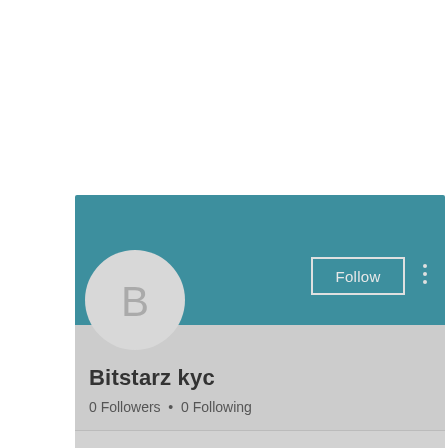[Figure (screenshot): A mobile/web app screenshot showing a hamburger menu button (three horizontal lines on a light gray rounded rectangle background), and a user profile card below it. The profile card has a teal header banner, a circular avatar with the letter 'B', a Follow button with three-dot menu in the banner, the username 'Bitstarz kyc', stats '0 Followers • 0 Following', and a bottom bar with a chevron/dropdown arrow.]